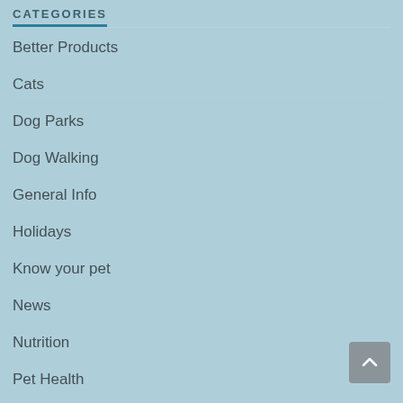CATEGORIES
Better Products
Cats
Dog Parks
Dog Walking
General Info
Holidays
Know your pet
News
Nutrition
Pet Health